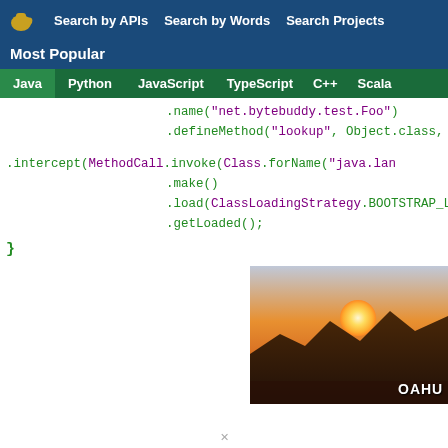Search by APIs  Search by Words  Search Projects
Most Popular
Java  Python  JavaScript  TypeScript  C++  Scala
.name("net.bytebuddy.test.Foo")
.defineMethod("lookup", Object.class, Ow
.intercept(MethodCall.invoke(Class.forName("java.lan
.make()
.load(ClassLoadingStrategy.BOOTSTRAP_LOA
.getLoaded();
}
[Figure (photo): Sunset photo over ocean with mountains silhouette, labeled OAHU in bottom right corner]